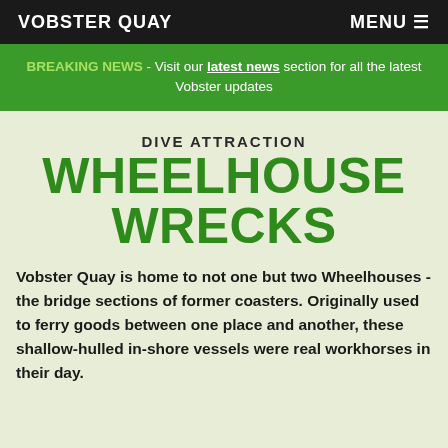VOBSTER QUAY   MENU ☰
BREAKING NEWS - Visit our latest news section for all the latest Vobster updates
DIVE ATTRACTION
WHEELHOUSE WRECKS
Vobster Quay is home to not one but two Wheelhouses - the bridge sections of former coasters. Originally used to ferry goods between one place and another, these shallow-hulled in-shore vessels were real workhorses in their day.